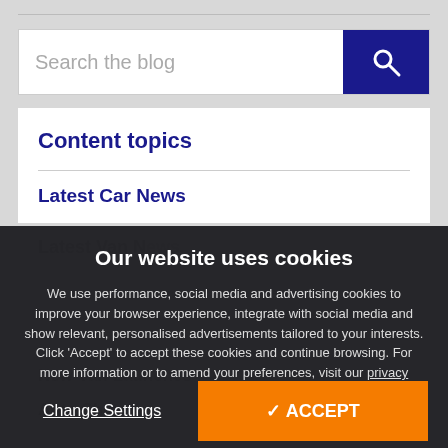[Figure (screenshot): Search bar with text placeholder 'Search the blog' and a dark blue search button with magnifying glass icon]
Content topics
Latest Car News
Latest Van N...
Our website uses cookies
We use performance, social media and advertising cookies to improve your browser experience, integrate with social media and show relevant, personalised advertisements tailored to your interests. Click 'Accept' to accept these cookies and continue browsing. For more information or to amend your preferences, visit our privacy policy.
New Van Launches
Auto Show...
Change Settings
✓ ACCEPT